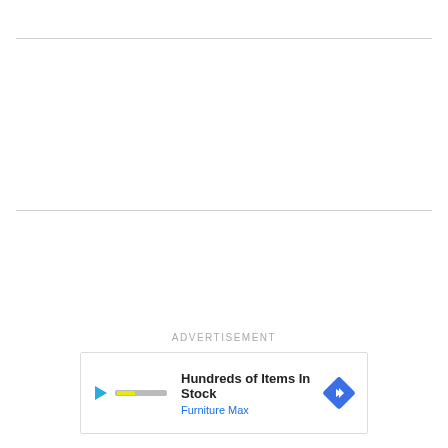ADVERTISEMENT
[Figure (infographic): Advertisement banner showing 'Hundreds of Items In Stock' for Furniture Max with a play/logo icon on the left and a blue diamond navigation arrow icon on the right]